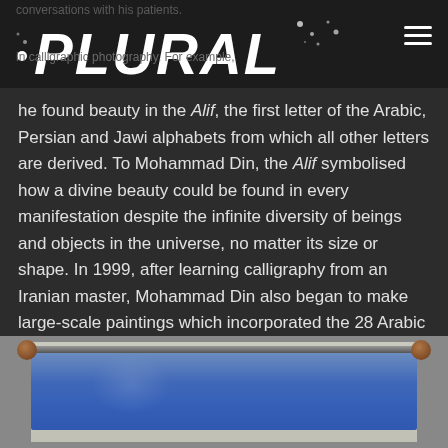PLURAL (logo with navigation)
conversations with his patients. he found beauty in the Alif, the first letter of the Arabic, Persian and Jawi alphabets from which all other letters are derived. To Mohammad Din, the Alif symbolised how a divine beauty could be found in every manifestation despite the infinite diversity of beings and objects in the universe, no matter its size or shape. In 1999, after learning calligraphy from an Iranian master, Mohammad Din also began to make large-scale paintings which incorporated the 28 Arabic letters from sūrah (chapters) of the Quran.
[Figure (photo): A blue scroll or hanging artwork mounted on a horizontal rod with decorative knobs on each end, displayed against a light beige/cream wall background.]